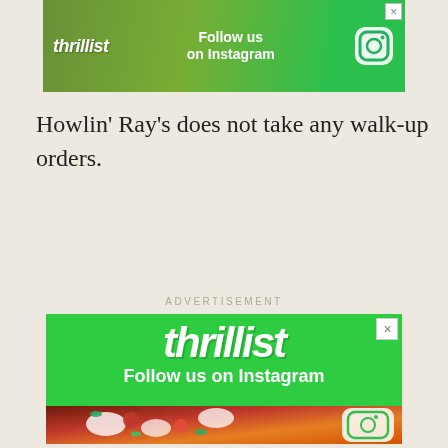[Figure (screenshot): Thrillist advertisement banner at top with green background, logo, 'Follow us on Instagram' text, and Instagram camera icon]
Howlin’ Ray’s does not take any walk-up orders.
ADVERTISEMENT
[Figure (screenshot): Large Thrillist advertisement with green background, large 'thrillist' logo, 'Follow us on Instagram' text, food photo with pizza/flatbread topped with cheese and vegetables, Instagram logo icon at bottom right, and X close button at top right]